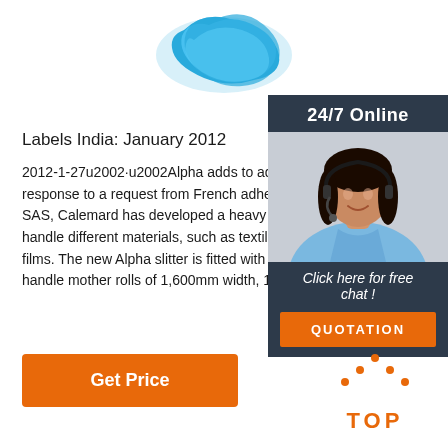[Figure (photo): Blue product (cable tie or similar) shown at top center of page]
Labels India: January 2012
2012-1-27u2002·u2002Alpha adds to adhesives app response to a request from French adhesive tape co SAS, Calemard has developed a heavy duty slitter m handle different materials, such as textiles, nonwove films. The new Alpha slitter is fitted with a separate u handle mother rolls of 1,600mm width, 1,000mm ...
[Figure (infographic): 24/7 Online chat widget with a woman wearing a headset, dark background, orange QUOTATION button]
[Figure (other): Orange TOP back-to-top button with dots forming an arrow above the text TOP]